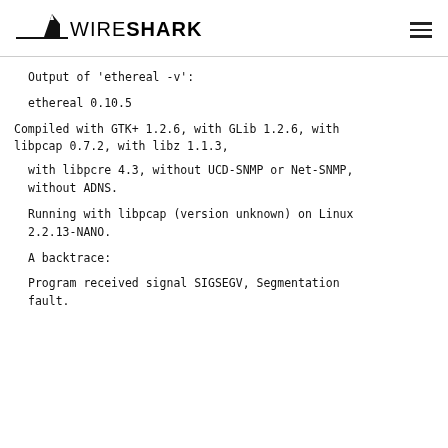WIRESHARK (logo with hamburger menu icon)
Output of 'ethereal -v':
ethereal 0.10.5
Compiled with GTK+ 1.2.6, with GLib 1.2.6, with libpcap 0.7.2, with libz 1.1.3,
with libpcre 4.3, without UCD-SNMP or Net-SNMP, without ADNS.
Running with libpcap (version unknown) on Linux 2.2.13-NANO.
A backtrace:
Program received signal SIGSEGV, Segmentation fault.